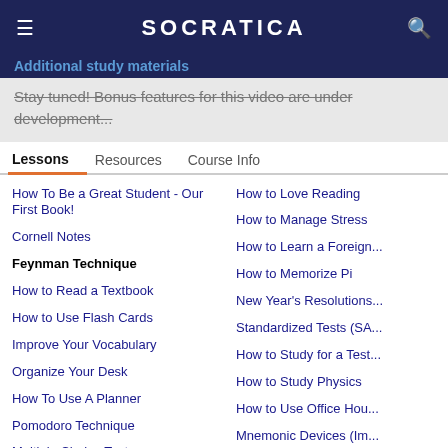SOCRATICA
Additional study materials
Stay tuned! Bonus features for this video are under development...
Lessons | Resources | Course Info
How To Be a Great Student - Our First Book!
Cornell Notes
Feynman Technique
How to Read a Textbook
How to Use Flash Cards
Improve Your Vocabulary
Organize Your Desk
How To Use A Planner
Pomodoro Technique
Multiple Choice Tests
12 Study Habits
Picking Your College Major
Speed Reading
How to Love Reading
How to Manage Stress
How to Learn a Foreign...
How to Memorize Pi
New Year's Resolutions...
Standardized Tests (SA...
How to Study for a Test...
How to Study Physics
How to Use Office Hou...
Mnemonic Devices (Im...
Test Taking Strategies...
How to Study Program...
How to Take Online Cla...
How to Work From Ho...